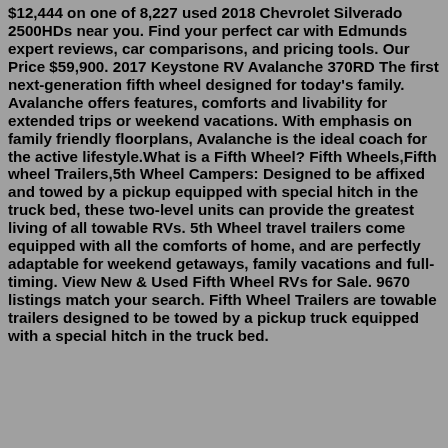$12,444 on one of 8,227 used 2018 Chevrolet Silverado 2500HDs near you. Find your perfect car with Edmunds expert reviews, car comparisons, and pricing tools. Our Price $59,900. 2017 Keystone RV Avalanche 370RD The first next-generation fifth wheel designed for today's family. Avalanche offers features, comforts and livability for extended trips or weekend vacations. With emphasis on family friendly floorplans, Avalanche is the ideal coach for the active lifestyle.What is a Fifth Wheel? Fifth Wheels,Fifth wheel Trailers,5th Wheel Campers: Designed to be affixed and towed by a pickup equipped with special hitch in the truck bed, these two-level units can provide the greatest living of all towable RVs. 5th Wheel travel trailers come equipped with all the comforts of home, and are perfectly adaptable for weekend getaways, family vacations and full-timing. View New & Used Fifth Wheel RVs for Sale. 9670 listings match your search. Fifth Wheel Trailers are towable trailers designed to be towed by a pickup truck equipped with a special hitch in the truck bed.